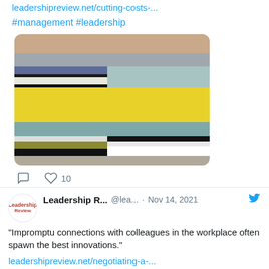leadershipreview.net/cutting-costs-...
#management #leadership
[Figure (illustration): Abstract horizontal color stripe painting with bands of tan/beige, gray, dark blue, cream, black, yellow (large), teal/slate, black, olive/dark yellow, white, black, and gray-brown, arranged horizontally.]
comment icon, heart icon, 10 likes
Leadership R...  @lea...  · Nov 14, 2021
"Impromptu connections with colleagues in the workplace often spawn the best innovations."
leadershipreview.net/negotiating-a-...